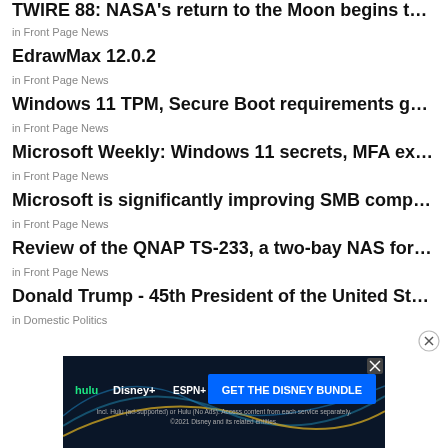TWIRE 88: NASA's return to the Moon begins this week...
in Front Page News
EdrawMax 12.0.2
in Front Page News
Windows 11 TPM, Secure Boot requirements get unear...
in Front Page News
Microsoft Weekly: Windows 11 secrets, MFA exploits, an...
in Front Page News
Microsoft is significantly improving SMB compression i...
in Front Page News
Review of the QNAP TS-233, a two-bay NAS for modest ...
in Front Page News
Donald Trump - 45th President of the United States
in Domestic Politics
[Figure (screenshot): Advertisement banner for Disney Bundle (Hulu, Disney+, ESPN+) with text 'GET THE DISNEY BUNDLE' and disclaimer text about Hulu ad-supported or no ads options. Dark background with logos.]